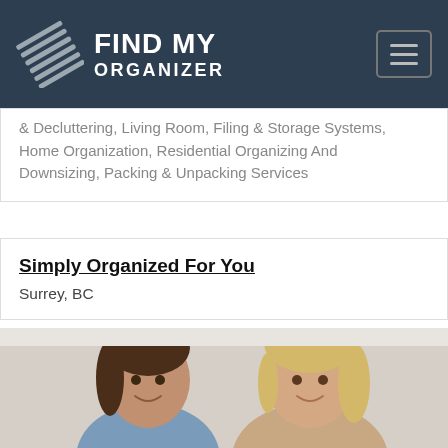FIND MY ORGANIZER
& Decluttering, Living Room, Filing & Storage Systems, Home Organization, Residential Organizing And Downsizing, Packing & Unpacking Services
Simply Organized For You
Surrey, BC
[Figure (photo): Two smiling women, one with dark hair wearing a blue shirt and one with blonde hair wearing a beige top, photographed from the waist up against a light background.]